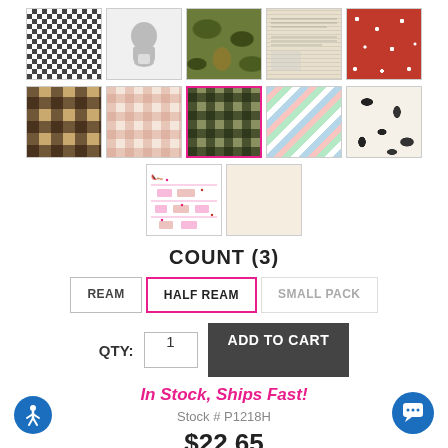[Figure (other): Grid of 12 fabric pattern thumbnail swatches: houndstooth, beard illustration, camouflage, newspaper print, red floral, buffalo plaid, pink gingham, dark green gingham (selected with pink border), chevron multicolor, black splatter, fashion/shoes print, cream plain]
COUNT (3)
REAM | HALF REAM (selected) | SMALL PACK
QTY: 1  ADD TO CART
In Stock, Ships Fast!
Stock # P1218H
$22.65
Unit Pack  120